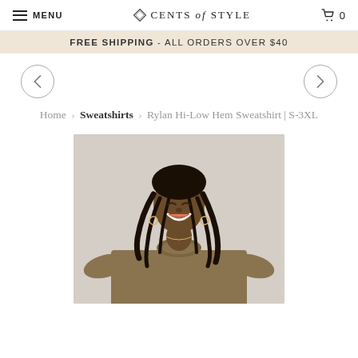MENU | CENTS of STYLE | 0
FREE SHIPPING - ALL ORDERS OVER $40
< >
Home > Sweatshirts > Rylan Hi-Low Hem Sweatshirt | S-3XL
[Figure (photo): A smiling woman with long braided hair wearing a tan/olive oversized crewneck sweatshirt, photographed against a light gray background.]